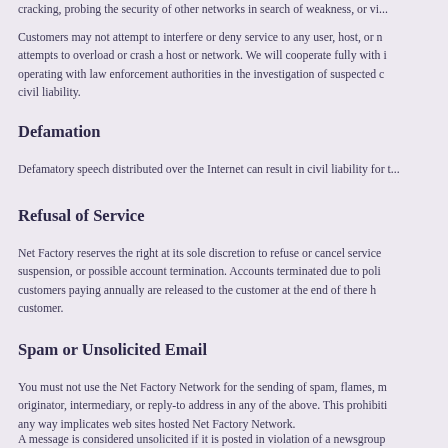cracking, probing the security of other networks in search of weakness, or vi...
Customers may not attempt to interfere or deny service to any user, host, or n... attempts to overload or crash a host or network. We will cooperate fully with i... operating with law enforcement authorities in the investigation of suspected c... civil liability.
Defamation
Defamatory speech distributed over the Internet can result in civil liability for t...
Refusal of Service
Net Factory reserves the right at its sole discretion to refuse or cancel service... suspension, or possible account termination. Accounts terminated due to poli... customers paying annually are released to the customer at the end of there h... customer.
Spam or Unsolicited Email
You must not use the Net Factory Network for the sending of spam, flames, m... originator, intermediary, or reply-to address in any of the above. This prohibiti... any way implicates web sites hosted Net Factory Network.
A message is considered unsolicited if it is posted in violation of a newsgroup... For purposes of this provision, merely making one's email address accessibl...